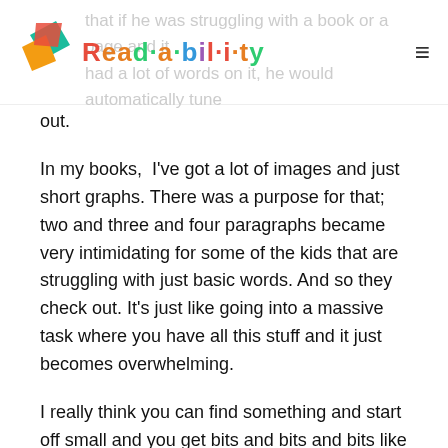Read·a·bil·i·ty
that if he was struggling with a book or a page and it had a lot of words on it, he would automatically tune out.
In my books, I've got a lot of images and just short graphs. There was a purpose for that; two and three and four paragraphs became very intimidating for some of the kids that are struggling with just basic words. And so they check out. It's just like going into a massive task where you have all this stuff and it just becomes overwhelming.
I really think you can find something and start off small and you get bits and bits and bits like that and they get more into it. I do fun facts at the end of every book— it's just short and things that they can relate to. They are just goofy little things, like the favorite color